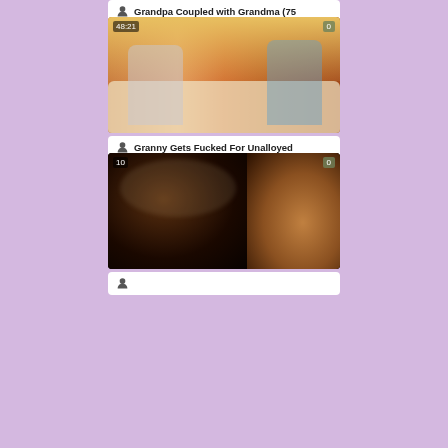Grandpa Coupled with Grandma (75
[Figure (photo): Video thumbnail showing a young man and an older blonde woman sitting on a couch, duration 48:21, views 0]
Granny Gets Fucked For Unalloyed
[Figure (photo): Video thumbnail showing a close-up dark image, duration 10, views 0]
...